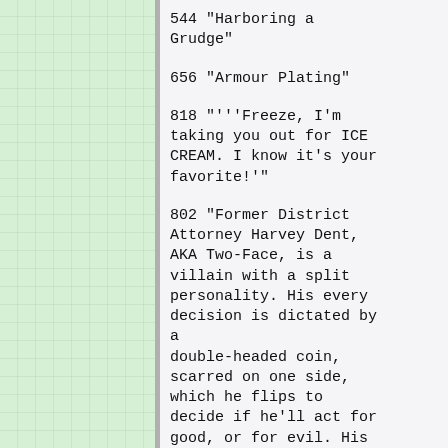544 "Harboring a Grudge"
656 "Armour Plating"
818 "'''Freeze, I'm taking you out for ICE CREAM. I know it's your favorite!'"
802 "Former District Attorney Harvey Dent, AKA Two-Face, is a villain with a split personality. His every decision is dictated by a double-headed coin, scarred on one side, which he flips to decide if he'll act for good, or for evil. His